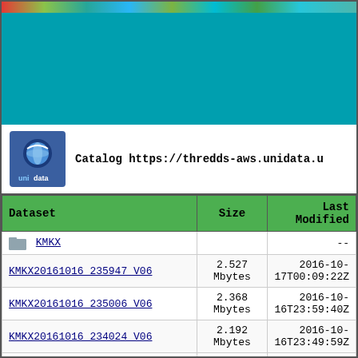[Figure (screenshot): Unidata THREDDS catalog page header with teal background and colorful banner strip at top]
Catalog https://thredds-aws.unidata.u
| Dataset | Size | Last Modified |
| --- | --- | --- |
| KMKX |  | -- |
| KMKX20161016 235947 V06 | 2.527 Mbytes | 2016-10-17T00:09:22Z |
| KMKX20161016 235006 V06 | 2.368 Mbytes | 2016-10-16T23:59:40Z |
| KMKX20161016 234024 V06 | 2.192 Mbytes | 2016-10-16T23:49:59Z |
| KMKX20161016 233042 V06 | 1.850 Mbytes | 2016-10-16T23:40:17Z |
| ... | 1.561 ... | 2016-10-... |